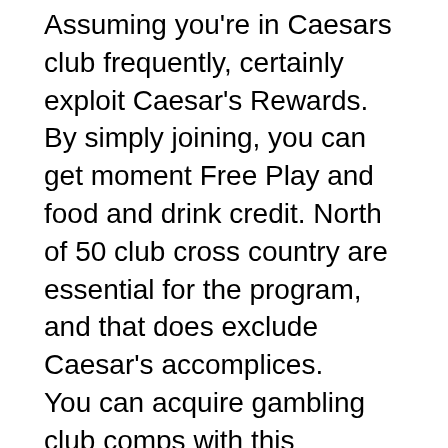Assuming you're in Caesars club frequently, certainly exploit Caesar's Rewards. By simply joining, you can get moment Free Play and food and drink credit. North of 50 club cross country are essential for the program, and that does exclude Caesar's accomplices.
You can acquire gambling club comps with this wonderful advancement through gaming, feasting, amusement, spa offers, and shopping. Join today and start gathering focuses the following time you step into a Caesars-possessed gambling club.
Close by Attractions
Searching for a day from the gambling club? Indeed, the Philadelphia region isn't anything short on fascination. Whether you're searching for